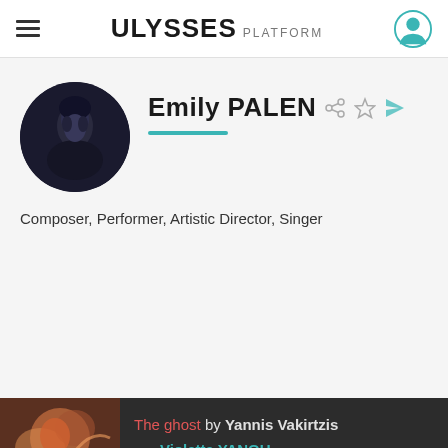ULYSSES PLATFORM
Emily PALEN
Composer, Performer, Artistic Director, Singer
The ghost by Yannis Vakirtzis — Violetta YANOU
We use cookies to enhance your experience. Dismiss this message or find out more here